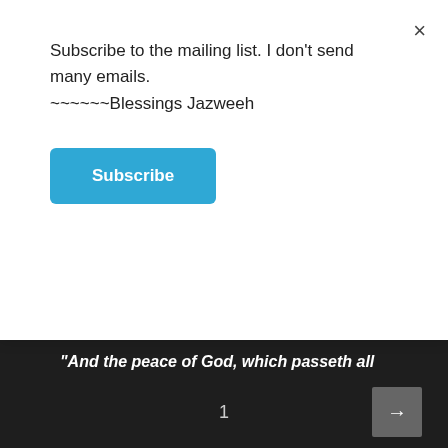Subscribe to the mailing list. I don't send many emails.
~~~~~~Blessings Jazweeh
Subscribe
"And the peace of God, which passeth all understanding, shall keep your hearts and minds through Christ Jesus."
Continue reading
1 →